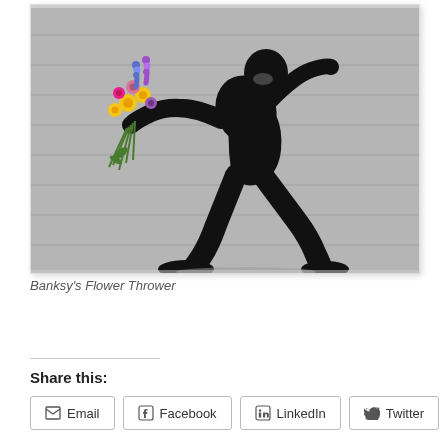[Figure (illustration): Banksy's Flower Thrower: black and white stencil graffiti artwork on a grey concrete wall depicting a masked figure in a throwing pose hurling a bouquet of colorful flowers instead of a weapon.]
Banksy's Flower Thrower
Share this:
Email
Facebook
LinkedIn
Twitter